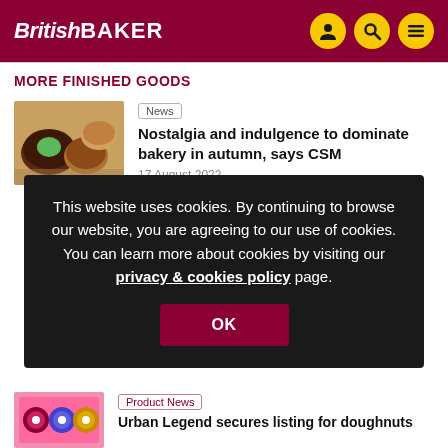British Baker
MORE FINISHED GOODS
[Figure (photo): Photo of baked goods including chocolate and cream-filled pastries on a wooden surface]
Nostalgia and indulgence to dominate bakery in autumn, says CSM
17 August 2022
This website uses cookies. By continuing to browse our website, you are agreeing to our use of cookies. You can learn more about cookies by visiting our privacy & cookies policy page.
OK
[Figure (photo): Photo of pink box with doughnuts]
Urban Legend secures listing for doughnuts